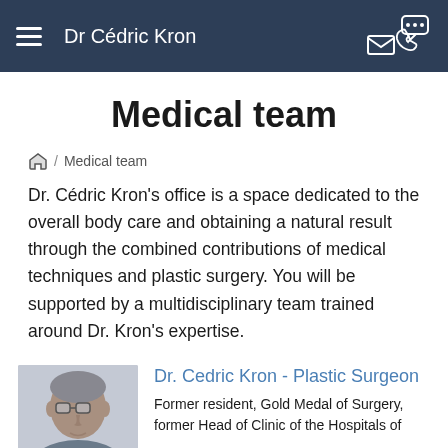Dr Cédric Kron
Medical team
🏠 / Medical team
Dr. Cédric Kron's office is a space dedicated to the overall body care and obtaining a natural result through the combined contributions of medical techniques and plastic surgery. You will be supported by a multidisciplinary team trained around Dr. Kron's expertise.
[Figure (photo): Photo of Dr. Cedric Kron, a plastic surgeon, shown from the shoulders up]
Dr. Cedric Kron - Plastic Surgeon
Former resident, Gold Medal of Surgery, former Head of Clinic of the Hospitals of